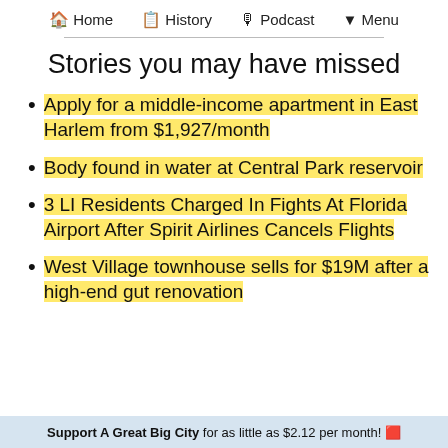🏠 Home  📋 History  🎙 Podcast  ▼ Menu
Stories you may have missed
Apply for a middle-income apartment in East Harlem from $1,927/month
Body found in water at Central Park reservoir
3 LI Residents Charged In Fights At Florida Airport After Spirit Airlines Cancels Flights
West Village townhouse sells for $19M after a high-end gut renovation
Support A Great Big City for as little as $2.12 per month! 🟥